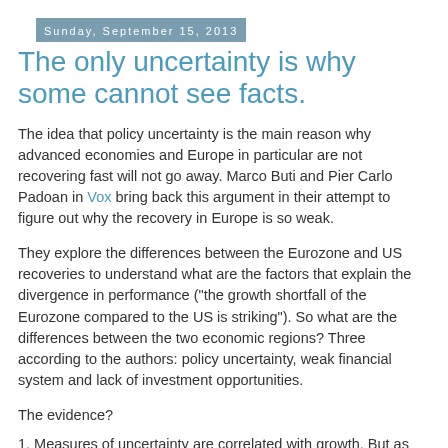Sunday, September 15, 2013
The only uncertainty is why some cannot see facts.
The idea that policy uncertainty is the main reason why advanced economies and Europe in particular are not recovering fast will not go away. Marco Buti and Pier Carlo Padoan in Vox bring back this argument in their attempt to figure out why the recovery in Europe is so weak.
They explore the differences between the Eurozone and US recoveries to understand what are the factors that explain the divergence in performance ("the growth shortfall of the Eurozone compared to the US is striking"). So what are the differences between the two economic regions? Three according to the authors: policy uncertainty, weak financial system and lack of investment opportunities.
The evidence?
1. Measures of uncertainty are correlated with growth. But as